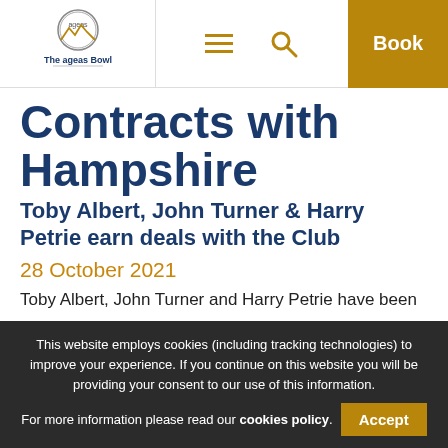The ageas Bowl | Book
Contracts with Hampshire
Toby Albert, John Turner & Harry Petrie earn deals with the Club
28 October 2021
Toby Albert, John Turner and Harry Petrie have been
This website employs cookies (including tracking technologies) to improve your experience. If you continue on this website you will be providing your consent to our use of this information. For more information please read our cookies policy. Accept